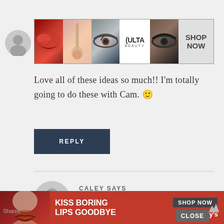[Figure (photo): Ulta Beauty advertisement banner showing makeup images (lips, brush, eye, Ulta logo, smoky eyes) with SHOP NOW button]
Love all of these ideas so much!! I'm totally going to do these with Cam. 🙂
REPLY
CALEY SAYS
August 1, 2016 at 10:48 am
These are such cute and fun ideas! So __ or
[Figure (photo): Macy's advertisement banner with KISS BORING LIPS GOODBYE text and SHOP NOW button with star Macy's logo]
Shares
CLOSE